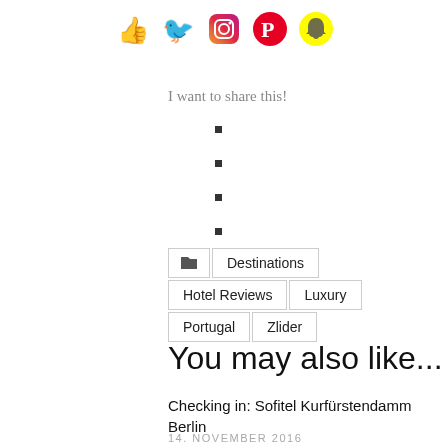[Figure (illustration): Row of five social media icons: Facebook thumbs up (blue), Twitter bird (blue), Instagram camera (gradient), Pinterest logo (red/pink), Snapchat ghost (yellow)]
I want to share this!
Destinations  Hotel Reviews  Luxury  Portugal  Zlider
You may also like...
Checking in: Sofitel Kurfürstendamm Berlin
14. NOVEMBER 2016